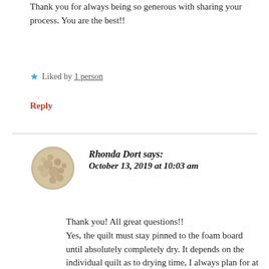Thank you for always being so generous with sharing your process. You are the best!!
★ Liked by 1 person
Reply
Rhonda Dort says:
October 13, 2019 at 10:03 am
[Figure (photo): Circular avatar/profile photo with a patterned fabric or floral texture in muted beige, tan and brown tones]
Thank you! All great questions!! Yes, the quilt must stay pinned to the foam board until absolutely completely dry. It depends on the individual quilt as to drying time, I always plan for at least 2 days. And yes, if you wanted your quilt to always be perfectly square you'd want to block after each washing. I have only blocked "show pieces".